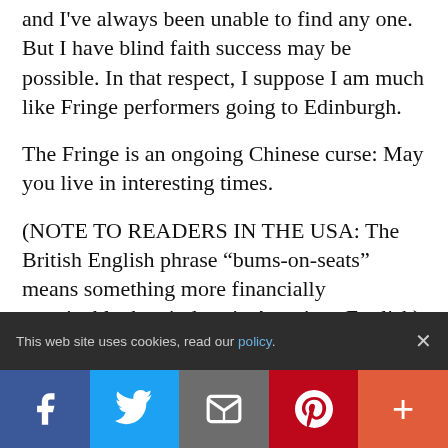and I've always been unable to find any one. But I have blind faith success may be possible. In that respect, I suppose I am much like Fringe performers going to Edinburgh.
The Fringe is an ongoing Chinese curse: May you live in interesting times.
(NOTE TO READERS IN THE USA: The British English phrase “bums-on-seats” means something more financially sustainable than it does in American English)
Published: 16 Feb 2011
This web site uses cookies, read our policy.
Facebook | Twitter | Email | Pinterest | More